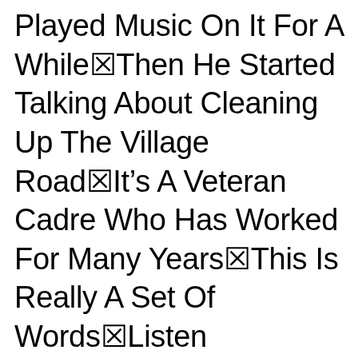Played Music On It For A While☒Then He Started Talking About Cleaning Up The Village Road☒It’s A Veteran Cadre Who Has Worked For Many Years☒This Is Really A Set Of Words☒Listen